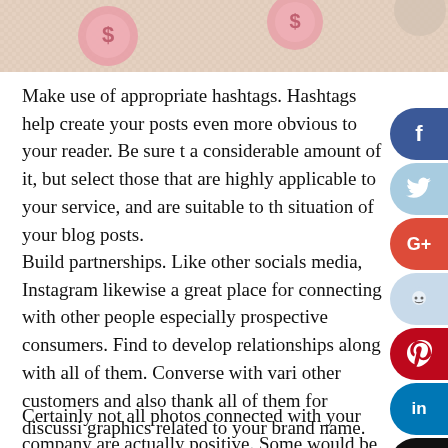[Figure (photo): Top portion of a photo showing coins/money items on a light textured background, partially cropped]
Make use of appropriate hashtags. Hashtags help create your posts even more obvious to your reader. Be sure t a considerable amount of it, but select those that are highly applicable to your service, and are suitable to th situation of your blog posts.
Build partnerships. Like other socials media, Instagram likewise a great place for connecting with other people especially prospective consumers. Find to develop relationships along with all of them. Converse with vari other customers and also thank all of them for discussi graphics related to your brand name.
Certainly not all photos connected with your company are actually positive. Some would be actually discussing